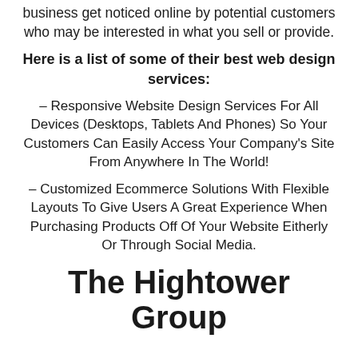business get noticed online by potential customers who may be interested in what you sell or provide.
Here is a list of some of their best web design services:
– Responsive Website Design Services For All Devices (Desktops, Tablets And Phones) So Your Customers Can Easily Access Your Company's Site From Anywhere In The World!
– Customized Ecommerce Solutions With Flexible Layouts To Give Users A Great Experience When Purchasing Products Off Of Your Website Eitherly Or Through Social Media.
The Hightower Group